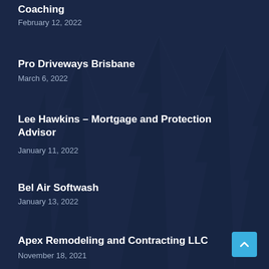Coaching
February 12, 2022
Pro Driveways Brisbane
March 6, 2022
Lee Hawkins – Mortgage and Protection Advisor
January 11, 2022
Bel Air Softwash
January 13, 2022
Apex Remodeling and Contracting LLC
November 18, 2021